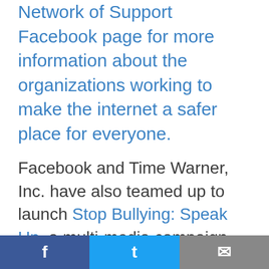Network of Support Facebook page for more information about the organizations working to make the internet a safer place for everyone.
Facebook and Time Warner, Inc. have also teamed up to launch Stop Bullying: Speak Up, a multi-media campaign designed to educate parents, teachers and youth about the actions that will help protect young people from the impact of bullying. For more information, and to take the Stop Bullying: Speak Up pledge, visit www.facebook.com/stopbullyingspeakup.
^ Back to top